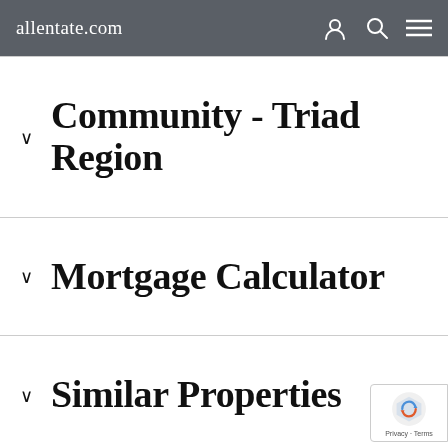allentate.com
Community - Triad Region
Mortgage Calculator
Similar Properties